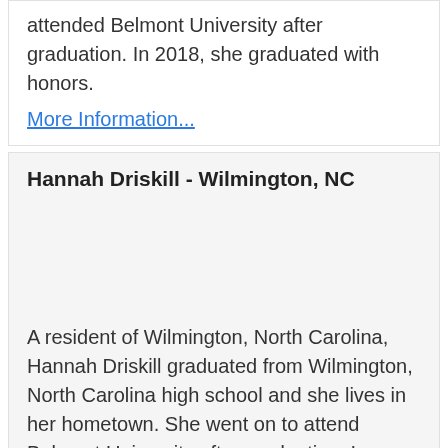attended Belmont University after graduation. In 2018, she graduated with honors.
More Information...
Hannah Driskill - Wilmington, NC
A resident of Wilmington, North Carolina, Hannah Driskill graduated from Wilmington, North Carolina high school and she lives in her hometown. She went on to attend Belmont University after graduating. In 2018, she graduated from college.